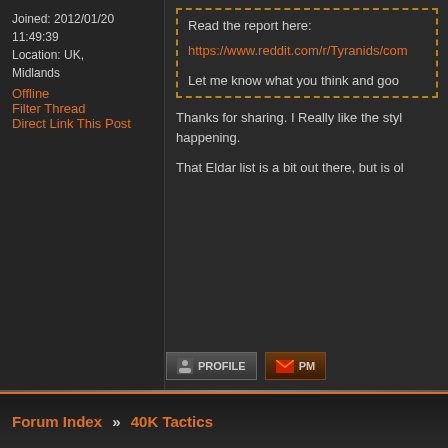Joined: 2012/01/20 11:49:39
Location: UK, Midlands
Offline
Filter Thread
Direct Link This Post
Read the report here:
https://www.reddit.com/r/Tyranids/com
Let me know what you think and goo
Thanks for sharing. I Really like the styl happening.
That Eldar list is a bit out there, but is ol
Forum Index » 40K Tactics